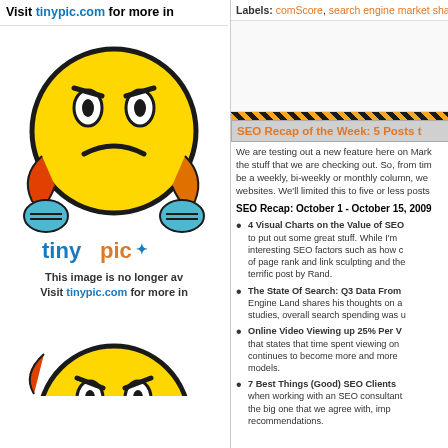Visit tinypic.com for more in...
Labels: comScore, search engine market sha...
[Figure (photo): Tinypic.com placeholder image showing a frustrated yellow emoticon face with the tinypic logo and text 'This image is no longer av... Visit tinypic.com for more in...']
SEO Recap of the Week: 5 Posts t...
We are testing out a new feature here on Mark... the stuff that we are checking out. So, from tim... be a weekly, bi-weekly or monthly column, we... websites. We'll limited this to five or less posts...
SEO Recap: October 1 - October 15, 2009
4 Visual Charts on the Value of SEO... to put out some great stuff. While I'm... interesting SEO factors such as how c... of page rank and link sculpting and the... terrific post by Rand.
The State Of Search: Q3 Data From... Engine Land shares his thoughts on a... studies, overall search spending was u...
Online Video Viewing up 25% Per V... that states that time spent viewing on... continues to become more and more... models.
7 Best Things (Good) SEO Clients... when working with an SEO consultant... the big one that we agree with, imp... recommendations.